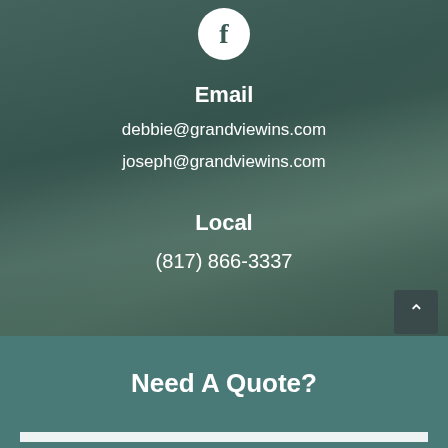[Figure (logo): Facebook icon in white circle]
Email
debbie@grandviewins.com
joseph@grandviewins.com
Local
(817) 866-3337
Need A Quote?